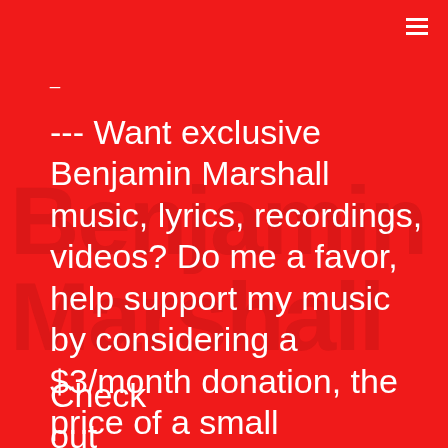_
--- Want exclusive Benjamin Marshall music, lyrics, recordings, videos? Do me a favor, help support my music by considering a $3/month donation, the price of a small cappuccino. By doing this, you'll have access to unreleased music, demo songs, lyrics, music charts, exclusive videos, AND more!
Check out BenjaminMarshallMusic.com/Subscribe for more info!